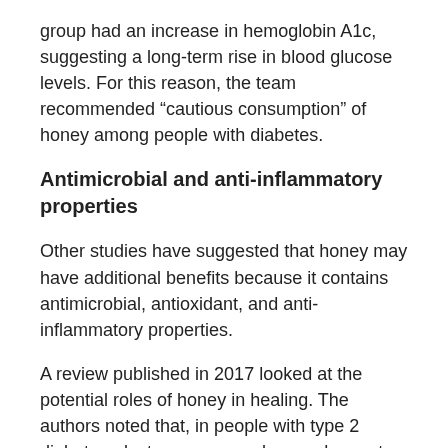group had an increase in hemoglobin A1c, suggesting a long-term rise in blood glucose levels. For this reason, the team recommended “cautious consumption” of honey among people with diabetes.
Antimicrobial and anti-inflammatory properties
Other studies have suggested that honey may have additional benefits because it contains antimicrobial, antioxidant, and anti-inflammatory properties.
A review published in 2017 looked at the potential roles of honey in healing. The authors noted that, in people with type 2 diabetes, doctors may one day use honey to lower blood sugar levels, reduce the risk of complications related to diabetes and metabolic